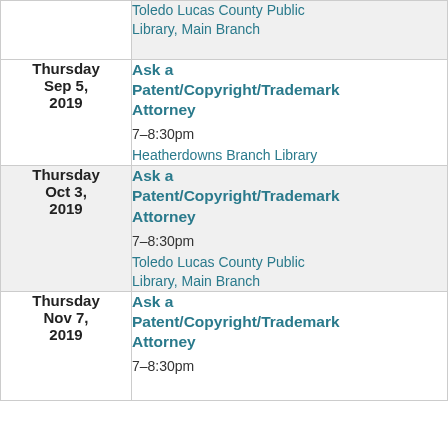| Date | Event |
| --- | --- |
| (partial) | Toledo Lucas County Public Library, Main Branch |
| Thursday Sep 5, 2019 | Ask a Patent/Copyright/Trademark Attorney
7–8:30pm
Heatherdowns Branch Library |
| Thursday Oct 3, 2019 | Ask a Patent/Copyright/Trademark Attorney
7–8:30pm
Toledo Lucas County Public Library, Main Branch |
| Thursday Nov 7, 2019 | Ask a Patent/Copyright/Trademark Attorney
7–8:30pm |